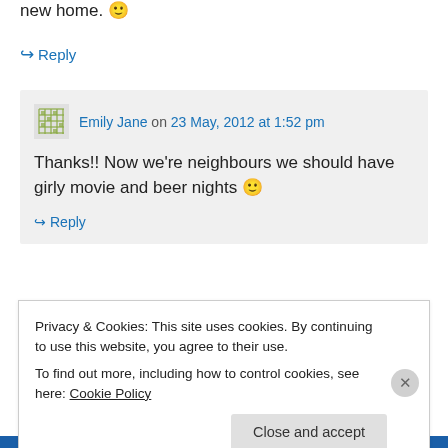new home. 🙂
↪ Reply
Emily Jane on 23 May, 2012 at 1:52 pm
Thanks!! Now we're neighbours we should have girly movie and beer nights 🙂
↪ Reply
Privacy & Cookies: This site uses cookies. By continuing to use this website, you agree to their use.
To find out more, including how to control cookies, see here: Cookie Policy
Close and accept